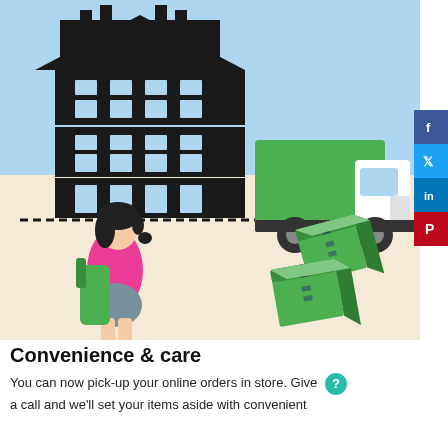[Figure (illustration): Illustration showing a warehouse/store building on the left with sky blue background, a green delivery truck on the right, a woman with dark hair carrying a green bag standing on sandy/beige ground, and two green delivery boxes on the right side. Social media buttons (Facebook, Twitter, LinkedIn, Pinterest) on the far right edge.]
Convenience & care
You can now pick-up your online orders in store. Give a call and we'll set your items aside with convenient